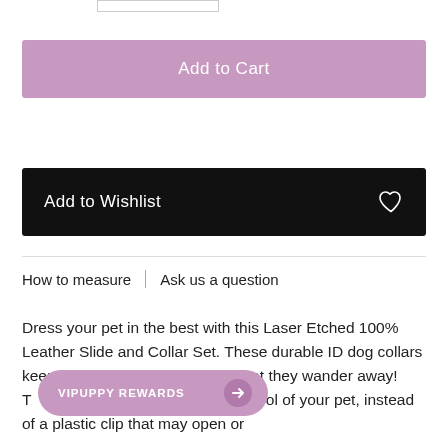[Figure (other): Partial UI element — small rectangle at top of page (quantity selector or similar)]
Add to Cart
Add to Wishlist
How to measure | Ask us a question
Dress your pet in the best with this Laser Etched 100% Leather Slide and Collar Set. These durable ID dog collars keep your pet safe in the event that they wander away! T[...] ws for complete control of your pet, instead of a plastic clip that may open or
VIPUPPY REWARDS